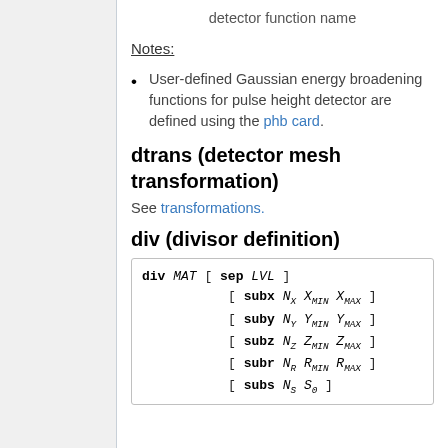detector function name
Notes:
User-defined Gaussian energy broadening functions for pulse height detector are defined using the phb card.
dtrans (detector mesh transformation)
See transformations.
div (divisor definition)
div MAT [ sep LVL ] [ subx N_X X_MIN X_MAX ] [ suby N_Y Y_MIN Y_MAX ] [ subz N_Z Z_MIN Z_MAX ] [ subr N_R R_MIN R_MAX ] [ subs N_S S_0 ]